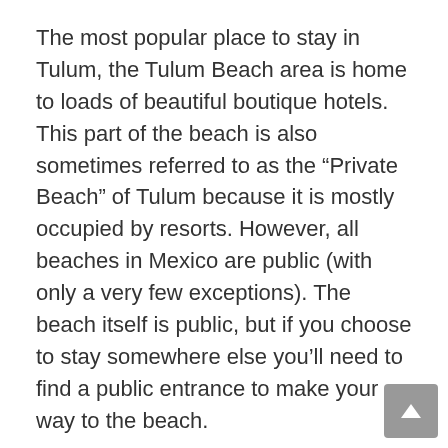The most popular place to stay in Tulum, the Tulum Beach area is home to loads of beautiful boutique hotels. This part of the beach is also sometimes referred to as the “Private Beach” of Tulum because it is mostly occupied by resorts. However, all beaches in Mexico are public (with only a very few exceptions). The beach itself is public, but if you choose to stay somewhere else you’ll need to find a public entrance to make your way to the beach.
Resorts on Tulum Beach are all situated directly on the gorgeous white sand beach that runs alongside the pristine, warm